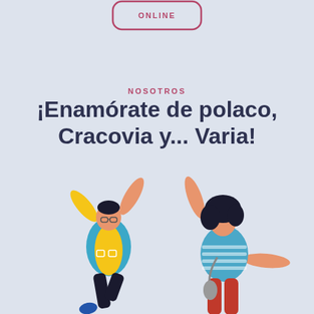[Figure (illustration): Badge/button shape with text ONLINE in purple/pink border]
NOSOTROS
¡Enamórate de polaco, Cracovia y... Varia!
[Figure (illustration): Two illustrated cartoon people jumping with arms raised in celebration. Left figure is a man in a yellow shirt and blue jacket with dark pants. Right figure is a woman with curly black hair wearing a striped blue top and orange/red pants.]